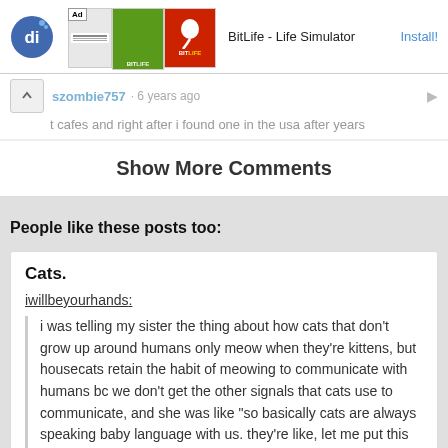[Figure (screenshot): Ad banner for BitLife - Life Simulator app with logo images and Install button]
szombie757 · 6 years ago
t cafes and right after i found one in the usa after years
Show More Comments
People like these posts too:
Cats.
iwillbeyourhands:
i was telling my sister the thing about how cats that don't grow up around humans only meow when they're kittens, but housecats retain the habit of meowing to communicate with humans bc we don't get the other signals that cats use to communicate, and she was like "so basically cats are always speaking baby language with us. they're like, let me put this very simply so you'll understand. basically they're incredibly condescending"